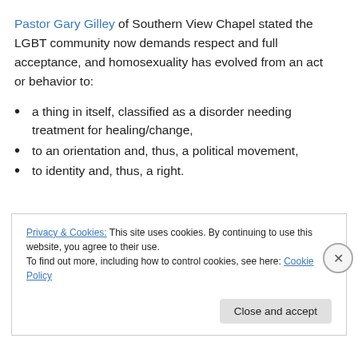Pastor Gary Gilley of Southern View Chapel stated the LGBT community now demands respect and full acceptance, and homosexuality has evolved from an act or behavior to:
a thing in itself, classified as a disorder needing treatment for healing/change,
to an orientation and, thus, a political movement,
to identity and, thus, a right.
Privacy & Cookies: This site uses cookies. By continuing to use this website, you agree to their use. To find out more, including how to control cookies, see here: Cookie Policy